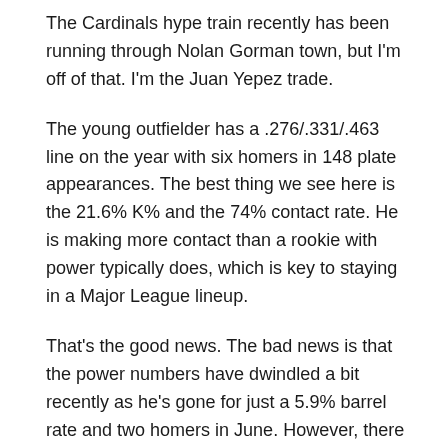The Cardinals hype train recently has been running through Nolan Gorman town, but I'm off of that. I'm the Juan Yepez trade.
The young outfielder has a .276/.331/.463 line on the year with six homers in 148 plate appearances. The best thing we see here is the 21.6% K% and the 74% contact rate. He is making more contact than a rookie with power typically does, which is key to staying in a Major League lineup.
That's the good news. The bad news is that the power numbers have dwindled a bit recently as he's gone for just a 5.9% barrel rate and two homers in June. However, there is plenty of reason to believe that this barrel rate can come back up in a hurry (it was as high as 11% earlier in the year). We have seen him hit a ball at 114.4 miles per hour, and that